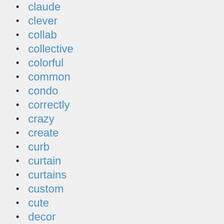claude
clever
collab
collective
colorful
common
condo
correctly
crazy
create
curb
curtain
curtains
custom
cute
decor
decorate